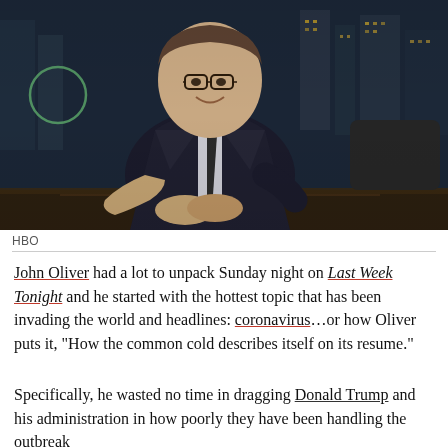[Figure (photo): Man in dark suit sitting at a desk with a city skyline backdrop at night, smiling and gesturing with hands together]
HBO
John Oliver had a lot to unpack Sunday night on Last Week Tonight and he started with the hottest topic that has been invading the world and headlines: coronavirus…or how Oliver puts it, “How the common cold describes itself on its resume.”
Specifically, he wasted no time in dragging Donald Trump and his administration in how poorly they have been handling the outbreak